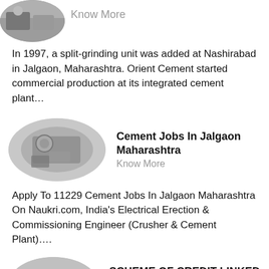[Figure (photo): Circular thumbnail image, partially visible at top, showing a construction/industrial scene]
Know More
In 1997, a split-grinding unit was added at Nashirabad in Jalgaon, Maharashtra. Orient Cement started commercial production at its integrated cement plant…
[Figure (photo): Oval thumbnail image showing cement/industrial equipment with hands holding gauges]
Cement Jobs In Jalgaon Maharashtra
Know More
Apply To 11229 Cement Jobs In Jalgaon Maharashtra On Naukri.com, India's Electrical Erection & Commissioning Engineer (Crusher & Cement Plant)….
[Figure (photo): Oval thumbnail image showing an industrial plant interior]
SCHEME OF CREDIT LINKED CAPITAL, SUBSIDY FOR
Know More